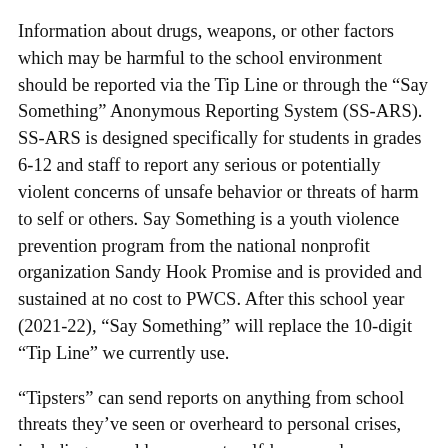Information about drugs, weapons, or other factors which may be harmful to the school environment should be reported via the Tip Line or through the “Say Something” Anonymous Reporting System (SS-ARS). SS-ARS is designed specifically for students in grades 6-12 and staff to report any serious or potentially violent concerns of unsafe behavior or threats of harm to self or others. Say Something is a youth violence prevention program from the national nonprofit organization Sandy Hook Promise and is provided and sustained at no cost to PWCS. After this school year (2021-22), “Say Something” will replace the 10-digit “Tip Line” we currently use.
“Tipsters” can send reports on anything from school threats they’ve seen or overheard to personal crises, including sexual harassment, self-harm, and depression. The system